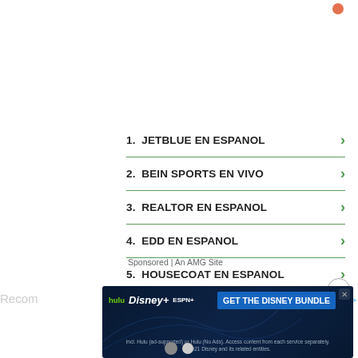1.  JETBLUE EN ESPANOL
2.  BEIN SPORTS EN VIVO
3.  REALTOR EN ESPANOL
4.  EDD EN ESPANOL
5.  HOUSECOAT EN ESPANOL
Sponsored | An AMG Site
[Figure (infographic): Disney Bundle advertisement banner showing Hulu, Disney+, and ESPN+ logos with blue background and call-to-action button GET THE DISNEY BUNDLE. Fine print: Incl. Hulu (ad-supported) or Hulu (No Ads). Access content from each service separately. ©2021 Disney and its related entities.]